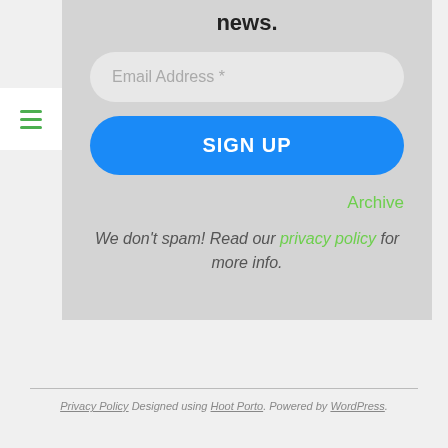news.
Email Address *
SIGN UP
Archive
We don't spam! Read our privacy policy for more info.
Privacy Policy Designed using Hoot Porto. Powered by WordPress.